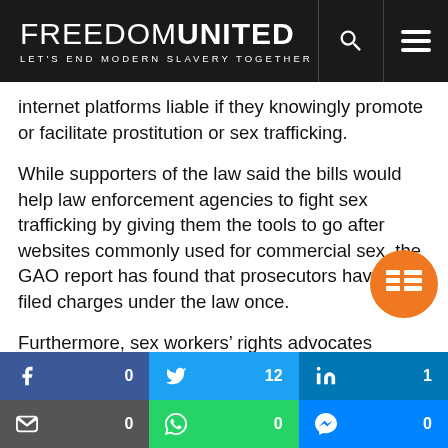FREEDOM UNITED — LET'S END MODERN SLAVERY TOGETHER
internet platforms liable if they knowingly promote or facilitate prostitution or sex trafficking.
While supporters of the law said the bills would help law enforcement agencies to fight sex trafficking by giving them the tools to go after websites commonly used for commercial sex, the GAO report has found that prosecutors have only filed charges under the law once.
Furthermore, sex workers' rights advocates warned that by forcing consensual sex workers offline, the law would only succeed in pushing these workers into more dangerous situations such as street-based
[Figure (infographic): Social share bar with Facebook (0), Twitter (12), LinkedIn (1), Email (0), WhatsApp (0), Messenger (0) buttons]